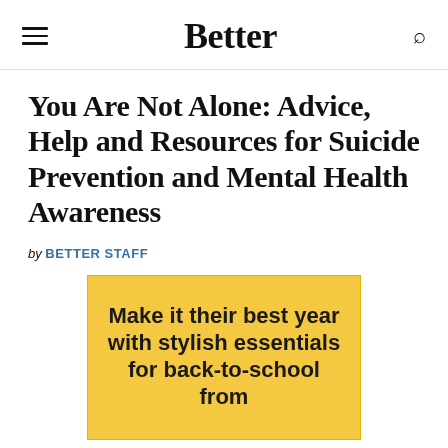Better
You Are Not Alone: Advice, Help and Resources for Suicide Prevention and Mental Health Awareness
by BETTER STAFF
[Figure (infographic): Yellow advertisement banner: 'Make it their best year with stylish essentials for back-to-school from']